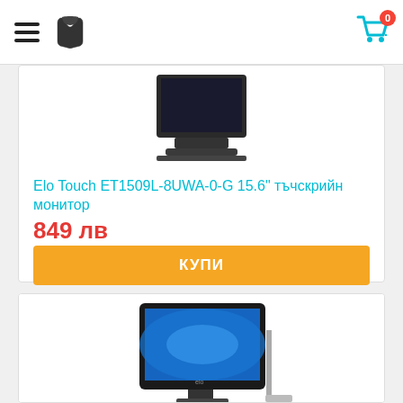Navigation header with hamburger menu, phone icon, and shopping cart with 0 items badge
[Figure (photo): Partial view of an Elo Touch touchscreen monitor, showing the bottom portion with stand]
Elo Touch ET1509L-8UWA-0-G 15.6" тъчскрийн монитор
849 лв
КУПИ
[Figure (photo): Second Elo Touch monitor product listing showing a flat-panel touchscreen monitor on a stand with blue screen display]